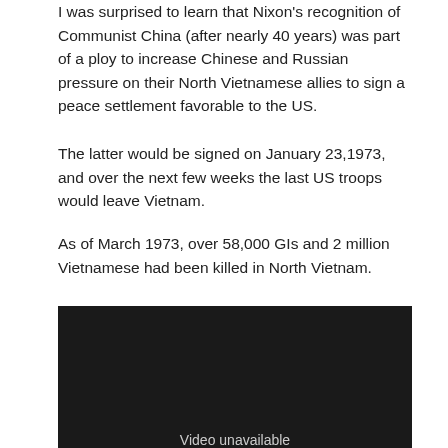I was surprised to learn that Nixon's recognition of Communist China (after nearly 40 years) was part of a ploy to increase Chinese and Russian pressure on their North Vietnamese allies to sign a peace settlement favorable to the US.
The latter would be signed on January 23,1973, and over the next few weeks the last US troops would leave Vietnam.
As of March 1973, over 58,000 GIs and 2 million Vietnamese had been killed in North Vietnam.
[Figure (other): Video unavailable placeholder — dark background with 'Video unavailable' text]